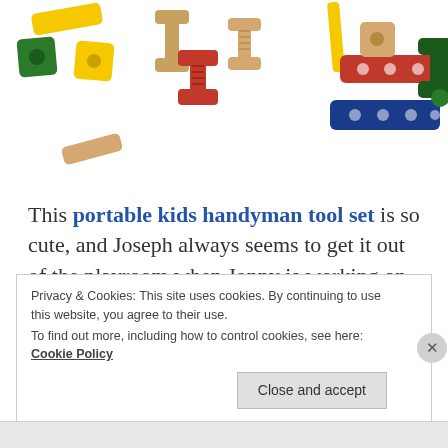[Figure (photo): Colorful wooden toy building blocks and tool set pieces scattered on a white background, including red, yellow, green, blue, and natural wood colored pieces such as screws, bolts, nuts, and flat connector pieces.]
This portable kids handyman tool set is so cute, and Joseph always seems to get it out of the playroom when Jonny is working on something. This 24-piece toolbox includes all the nuts and bolts–and hammer, wrench, and nails–to give your Mr. (or Miss) Fix-It hours of creative, constructive fun.
Privacy & Cookies: This site uses cookies. By continuing to use this website, you agree to their use.
To find out more, including how to control cookies, see here: Cookie Policy
Close and accept